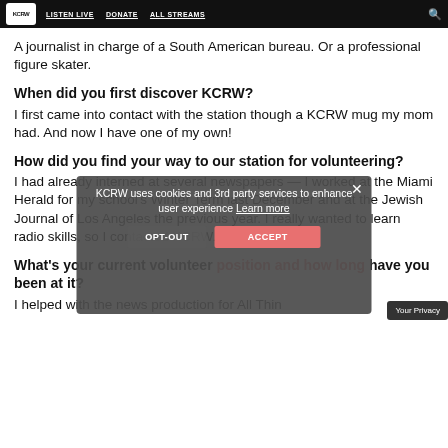KCRW | LISTEN LIVE | DONATE | ALL STREAMS
A journalist in charge of a South American bureau. Or a professional figure skater.
When did you first discover KCRW?
I first came into contact with the station though a KCRW mug my mom had. And now I have one of my own!
How did you find your way to our station for volunteering?
I had already interned at several newspapers — I worked at the Miami Herald for my school's Winter Term last December and at the Jewish Journal of Los Angeles the previous year. I really wanted to learn radio skills, so I contacted KCRW.
What's your current volunteer position and how long have you been at it?
I helped with the news production for All Thin…